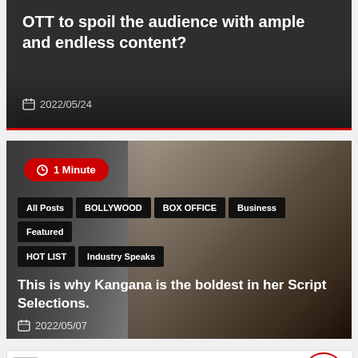OTT to spoil the audience with ample and endless content?
2022/05/24
[Figure (photo): Photo of a woman (Kangana Ranaut) in a dark outfit against a grey background, with a red '1 Minute' badge in the top-left corner and category tags overlaid at the bottom.]
All Posts
BOLLYWOOD
BOX OFFICE
Business
Featured
HOT LIST
Industry Speaks
This is why Kangana is the boldest in her Script Selections.
2022/05/07
[Figure (screenshot): Partial view of another article card with a broken image placeholder and a '2 Minutes' red badge. A red circle scroll-to-top arrow button is visible at the bottom right.]